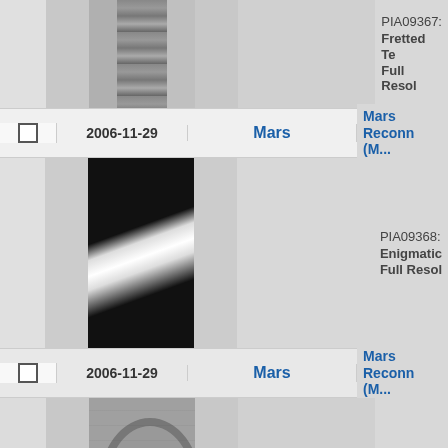[Figure (photo): Partial Mars surface image from MRO, fretted terrain, black and white]
PIA09367: Fretted Te... Full Resol...
|  | Date | Planet | Spacecraft/Info |
| --- | --- | --- | --- |
| ☐ | 2006-11-29 | Mars | Mars Reconnai... (M... |
|  | image |  | PIA09368: Enigmatic... Full Resol... |
| ☐ | 2006-11-29 | Mars | Mars Reconnai... (M... |
|  | image |  | PIA09369: Rayed Gra... Full Resol... |
| ☐ | 2006-11-29 | Mars | Mars Reconnai... (M... |
|  | partial image |  | PIA09370... |